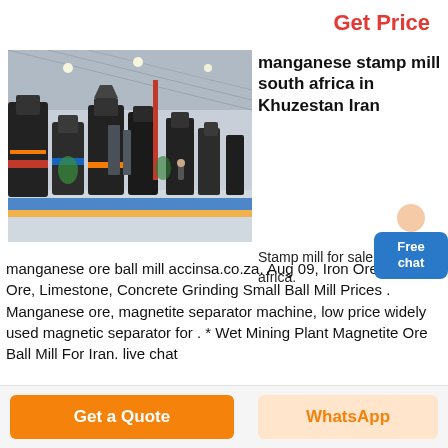Get Price
[Figure (photo): Industrial factory floor with large black stamp mills and grinding machines arranged in rows on a colorful floor]
manganese stamp mill south africa in Khuzestan Iran
Stamp mill for sale in south africa.
manganese ore ball mill accinsa.co.za. Aug 09, Iron Ore, Copper Ore, Limestone, Concrete Grinding Small Ball Mill Prices . Manganese ore, magnetite separator machine, low price widely used magnetic separator for . * Wet Mining Plant Magnetite Ore Ball Mill For Iran. live chat
Get a Quote
WhatsApp